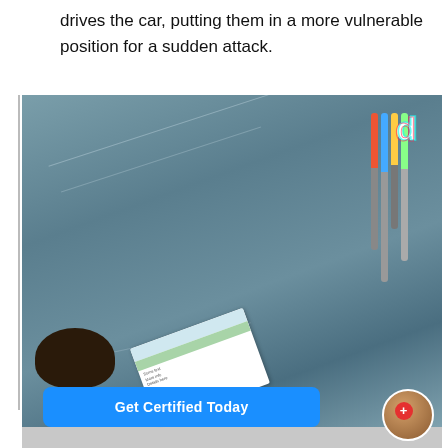drives the car, putting them in a more vulnerable position for a sudden attack.
[Figure (screenshot): A TikTok screenshot showing a view through a car windshield from inside the vehicle. Colorful hanging ornament bars are visible. A person's head appears at the bottom left, and someone is holding a flyer/brochure. A 'Get Certified Today' blue CTA button is overlaid at the bottom. A profile circle with a red plus button is visible at bottom right. The TikTok logo appears at the top right.]